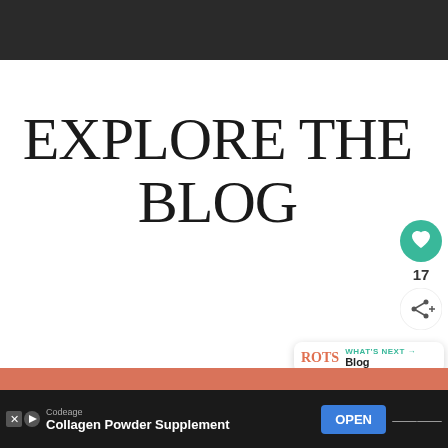[Figure (screenshot): Dark top navigation bar of a website]
EXPLORE THE BLOG
[Figure (infographic): Green circular heart/like button with count of 17 and a share button below it]
[Figure (infographic): What's Next popup showing 'ROTS' text, 'WHAT'S NEXT' label with arrow, and 'Blog' text]
[Figure (screenshot): Salmon/coral colored section bar]
[Figure (screenshot): Advertisement bar: Codeage Collagen Powder Supplement with OPEN button]